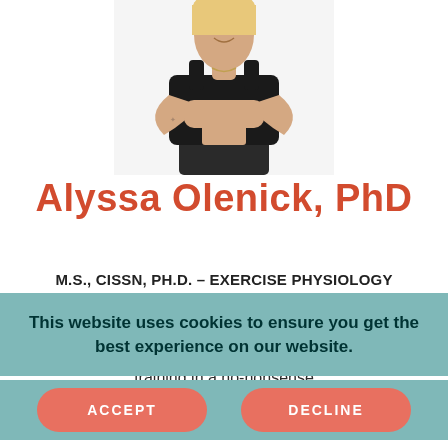[Figure (photo): Photo of Alyssa Olenick, a fit woman with crossed arms wearing a dark athletic top, cropped to show torso and shoulders]
Alyssa Olenick, PhD
M.S., CISSN, PH.D. – EXERCISE PHYSIOLOGY
Alyssa is an Exercise Physiologist, sports nutritionist, weight lifter, and ultra runner. She is known for her high energy and sassy approach to bringing science to your training in a no-nonsense
This website uses cookies to ensure you get the best experience on our website.
ACCEPT
DECLINE